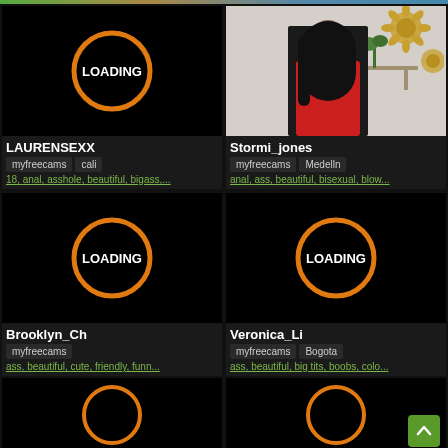[Figure (screenshot): Webcam listing grid showing loading placeholders and a photo of Stormi_jones, with names, platform tags, and keyword tags]
LAURENSEXX
myfreecams  cali
18, anal, asshole, beautiful, bigass,...
Stormi_jones
myfreecams  Medelln
anal, ass, beautiful, bisexual, blow...
Brooklyn_Ch
myfreecams
ass, beautiful, cute, friendly, funn...
Veronica_Li
myfreecams  Bogota
ass, beautiful, big tits, boobs, colo...